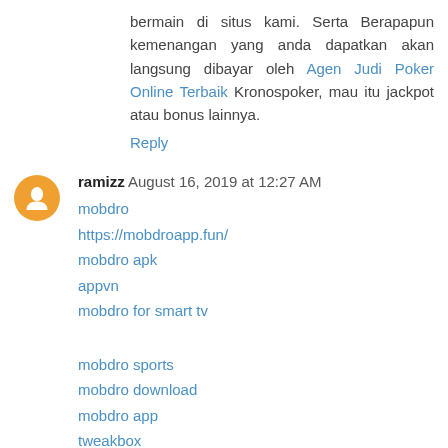bermain di situs kami. Serta Berapapun kemenangan yang anda dapatkan akan langsung dibayar oleh Agen Judi Poker Online Terbaik Kronospoker, mau itu jackpot atau bonus lainnya.
Reply
ramizz August 16, 2019 at 12:27 AM
mobdro
https://mobdroapp.fun/
mobdro apk
appvn
mobdro for smart tv
mobdro sports
mobdro download
mobdro app
tweakbox
mobdro
Reply